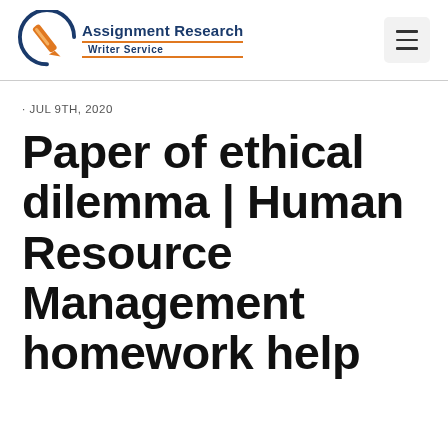[Figure (logo): Assignment Research Writer Service logo with pen icon and orange/navy colors]
· JUL 9TH, 2020
Paper of ethical dilemma | Human Resource Management homework help